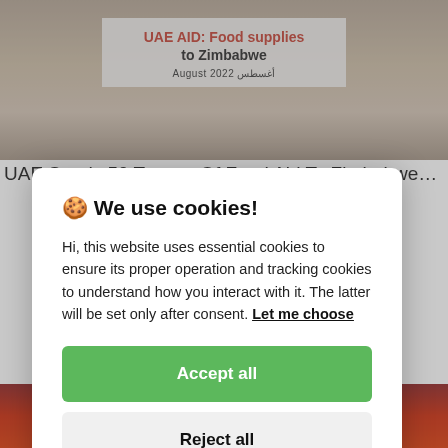[Figure (photo): A truck or cargo vehicle with a white banner reading 'UAE AID: Food supplies to Zimbabwe' and 'August 2022' in English and Arabic text.]
UAE Sends 50 Tonnes Of Food Aid To Zimbabwe…
🍪 We use cookies!

Hi, this website uses essential cookies to ensure its proper operation and tracking cookies to understand how you interact with it. The latter will be set only after consent. Let me choose
Accept all
Reject all